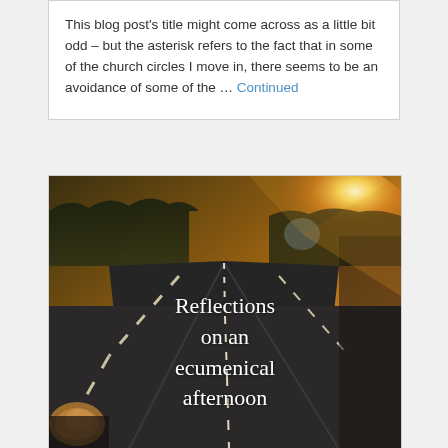This blog post's title might come across as a little bit odd – but the asterisk refers to the fact that in some of the church circles I move in, there seems to be an avoidance of some of the … Continued
[Figure (photo): A road at sunset with golden light on the horizon and a car side mirror visible in the lower left. White text overlay reads 'Reflections on an ecumenical afternoon'.]